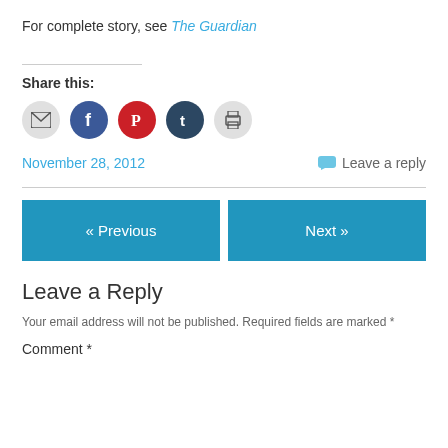For complete story, see The Guardian
Share this:
[Figure (infographic): Row of five social sharing icon buttons: email (grey circle), Facebook (blue circle), Pinterest (red circle), Tumblr (dark blue circle), Print (grey circle)]
November 28, 2012    Leave a reply
« Previous    Next »
Leave a Reply
Your email address will not be published. Required fields are marked *
Comment *